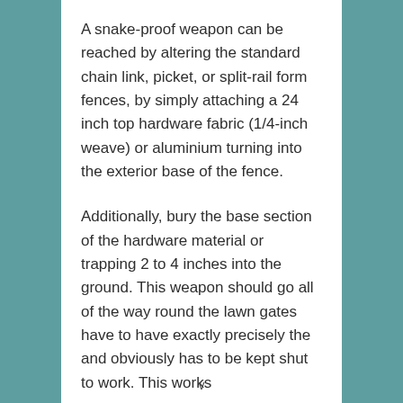A snake-proof weapon can be reached by altering the standard chain link, picket, or split-rail form fences, by simply attaching a 24 inch top hardware fabric (1/4-inch weave) or aluminium turning into the exterior base of the fence.
Additionally, bury the base section of the hardware material or trapping 2 to 4 inches into the ground. This weapon should go all of the way round the lawn gates have to have exactly precisely the and obviously has to be kept shut to work. This works
v